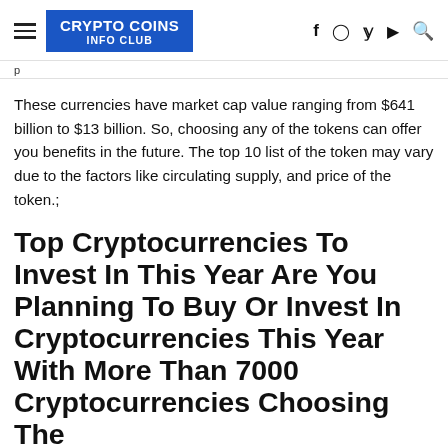CRYPTO COINS INFO CLUB
These currencies have market cap value ranging from $641 billion to $13 billion. So, choosing any of the tokens can offer you benefits in the future. The top 10 list of the token may vary due to the factors like circulating supply, and price of the token.;
Top Cryptocurrencies To Invest In This Year Are You Planning To Buy Or Invest In Cryptocurrencies This Year With More Than 7000 Cryptocurrencies Choosing The